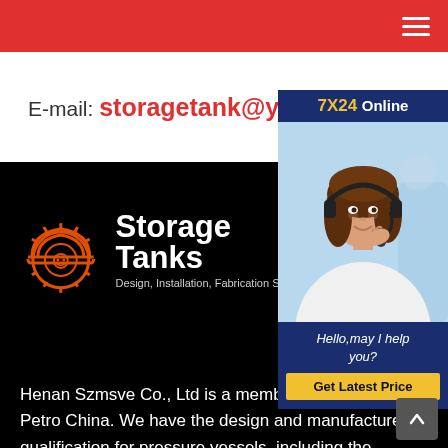E-mail: storagetank@yeah.net
[Figure (photo): Customer service representative wearing a headset, smiling, with '7X24 Online' header, 'Hello, may I help you?' text and 'Get Latest Price' button on dark blue background]
[Figure (logo): Storage Tanks logo with orange hard-hat icon, white text 'Storage Tanks' and subtitle 'Design, Installation, Fabrication Service' on black background]
Henan Szmsve Co., Ltd is a member of Sinopec and Petro China. We have the design and manufacture qualification for pressure vessels, including the international marine pressure vessels of Class II and ...